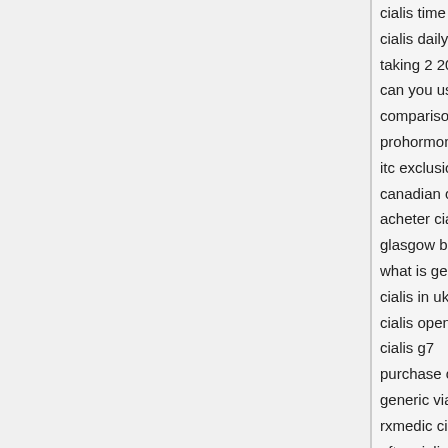cialis time to effect
cialis daily after surgery
taking 2 20 mg cialis
can you use viagra with cialis
comparison of viagra levitra and cialis
prohormones and cialis
itc exclusion cialis
canadian cialis pharmacy
acheter cialis france
glasgow buy cialis
what is generic cialis
cialis in uk online
cialis open tee times western
cialis g7
purchase cialis
generic viagra zenegra cialis levitra
rxmedic cialis
after cialis
information on cialis for erectile disfuntion
cialis generic cheapest price free shipping
cialis eye floaters
prescription cialis usa
cialis compared viagra
personal accounts cialis